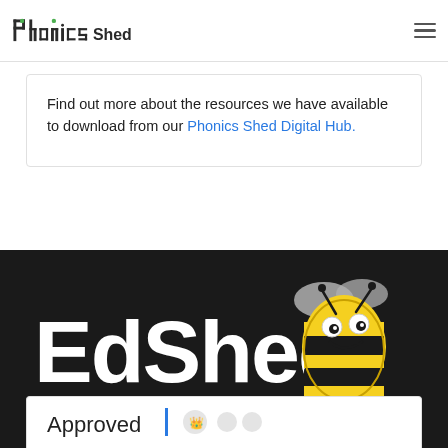Phonics Shed
Find out more about the resources we have available to download from our Phonics Shed Digital Hub.
[Figure (logo): EdShed logo with white text 'EdShed' and cartoon bee on dark background]
[Figure (illustration): Approved badge with divider and crown/seal icons at bottom of page]